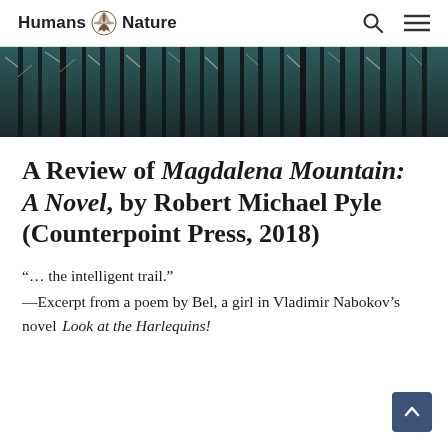Humans Nature
[Figure (photo): Banner photo of bare winter trees with dark vertical trunks against a teal/dark background]
A Review of Magdalena Mountain: A Novel, by Robert Michael Pyle (Counterpoint Press, 2018)
“… the intelligent trail.”
—Excerpt from a poem by Bel, a girl in Vladimir Nabokov’s novel Look at the Harlequins!